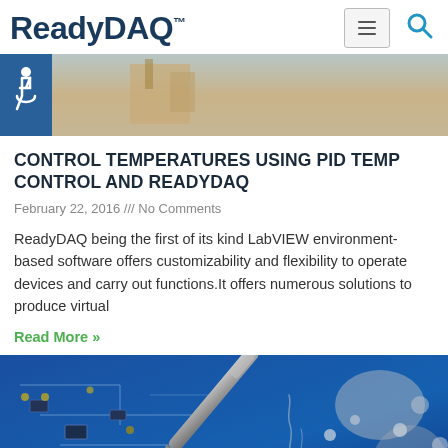ReadyDAQ™
[Figure (photo): Hero banner image showing a wooden/environmental background with accessibility icon badge on left side]
CONTROL TEMPERATURES USING PID TEMP CONTROL AND READYDAQ
February 22, 2016 /// No Comments
ReadyDAQ being the first of its kind LabVIEW environment-based software offers customizability and flexibility to operate devices and carry out functions.It offers numerous solutions to produce virtual
Read More »
[Figure (photo): Close-up photo of a soldering iron tip on a blue circuit board with electronic components]